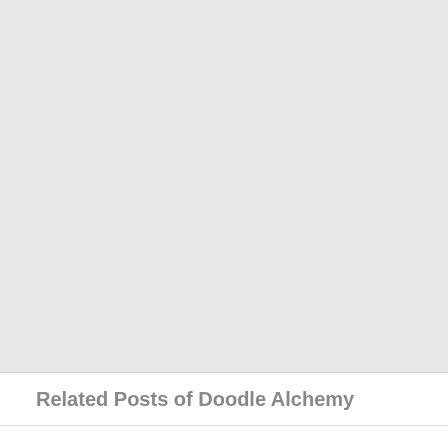[Figure (other): Large light gray blank area filling the upper portion of the page]
Related Posts of Doodle Alchemy